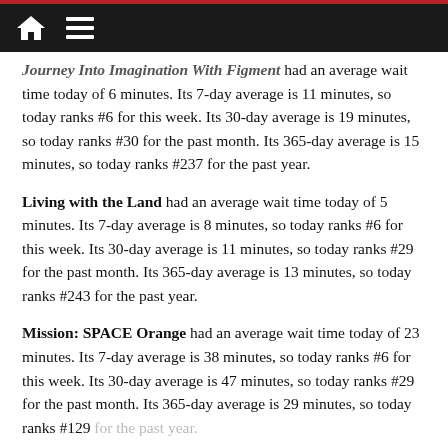Navigation bar with home icon and menu icon
Journey Into Imagination With Figment had an average wait time today of 6 minutes. Its 7-day average is 11 minutes, so today ranks #6 for this week. Its 30-day average is 19 minutes, so today ranks #30 for the past month. Its 365-day average is 15 minutes, so today ranks #237 for the past year.
Living with the Land had an average wait time today of 5 minutes. Its 7-day average is 8 minutes, so today ranks #6 for this week. Its 30-day average is 11 minutes, so today ranks #29 for the past month. Its 365-day average is 13 minutes, so today ranks #243 for the past year.
Mission: SPACE Orange had an average wait time today of 23 minutes. Its 7-day average is 38 minutes, so today ranks #6 for this week. Its 30-day average is 47 minutes, so today ranks #29 for the past month. Its 365-day average is 29 minutes, so today ranks #129 for the past year.